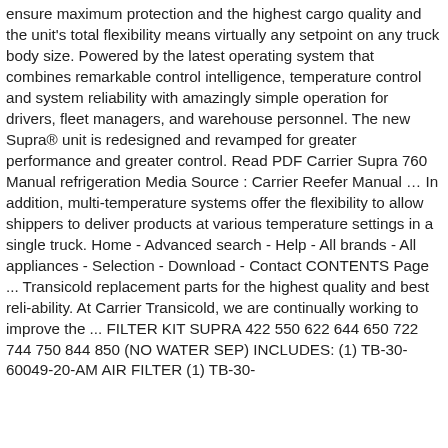ensure maximum protection and the highest cargo quality and the unit's total flexibility means virtually any setpoint on any truck body size. Powered by the latest operating system that combines remarkable control intelligence, temperature control and system reliability with amazingly simple operation for drivers, fleet managers, and warehouse personnel. The new Supra® unit is redesigned and revamped for greater performance and greater control. Read PDF Carrier Supra 760 Manual refrigeration Media Source : Carrier Reefer Manual … In addition, multi-temperature systems offer the flexibility to allow shippers to deliver products at various temperature settings in a single truck. Home - Advanced search - Help - All brands - All appliances - Selection - Download - Contact CONTENTS Page ... Transicold replacement parts for the highest quality and best reli-ability. At Carrier Transicold, we are continually working to improve the ... FILTER KIT SUPRA 422 550 622 644 650 722 744 750 844 850 (NO WATER SEP) INCLUDES: (1) TB-30-60049-20-AM AIR FILTER (1) TB-30-